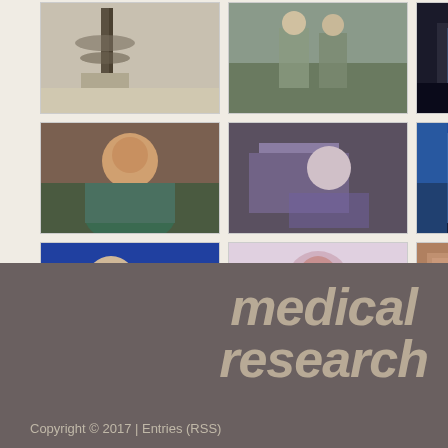[Figure (photo): 3x3 grid of photos: row 1: antenna/tower structure, military personnel, conference/screen display; row 2: smiling man portrait, person at lab equipment, city building at night; row 3: doctor/researcher with gloves, woman in lab coat with equipment, book/signage display]
medical research
Copyright © 2017 | Entries (RSS)